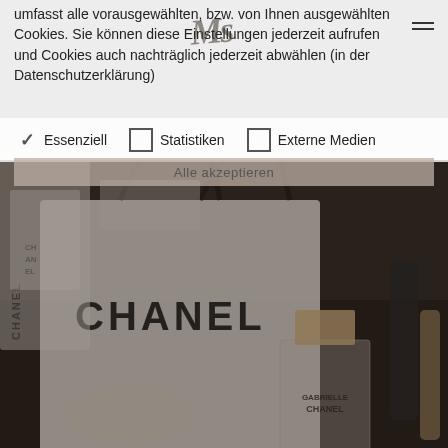[Figure (photo): Background photo of Chanel shopping bags, Gabrielle Chanel perfume bottle, and cosmetic products arranged on a dark surface. The image is darkened/muted. Chanel branding visible on bags and perfume.]
umfasst alle vorausgewählten, bzw. von Ihnen ausgewählten Cookies. Sie können diese Einstellungen jederzeit aufrufen und Cookies auch nachträglich jederzeit abwählen (in der Datenschutzerklärung)
✓ Essenziell   ☐ Statistiken   ☐ Externe Medien
Alle akzeptieren